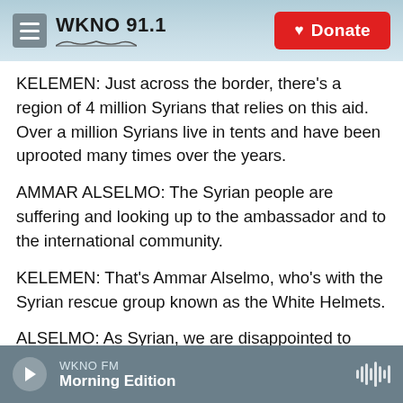WKNO 91.1 | Donate
KELEMEN: Just across the border, there's a region of 4 million Syrians that relies on this aid. Over a million Syrians live in tents and have been uprooted many times over the years.
AMMAR ALSELMO: The Syrian people are suffering and looking up to the ambassador and to the international community.
KELEMEN: That's Ammar Alselmo, who's with the Syrian rescue group known as the White Helmets.
ALSELMO: As Syrian, we are disappointed to fight
WKNO FM
Morning Edition